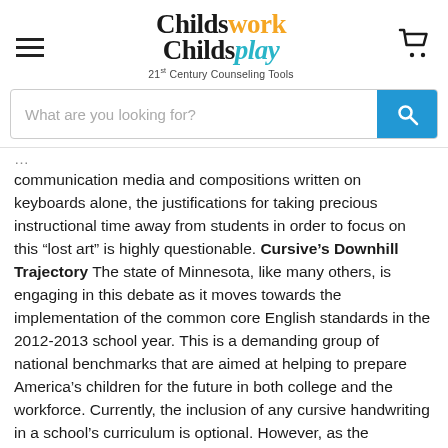Childswork Childsplay – 21st Century Counseling Tools
[Figure (screenshot): Website header with hamburger menu, Childswork Childsplay logo, and shopping cart icon]
What are you looking for?
communication media and compositions written on keyboards alone, the justifications for taking precious instructional time away from students in order to focus on this “lost art” is highly questionable. Cursive’s Downhill Trajectory The state of Minnesota, like many others, is engaging in this debate as it moves towards the implementation of the common core English standards in the 2012-2013 school year. This is a demanding group of national benchmarks that are aimed at helping to prepare America’s children for the future in both college and the workforce. Currently, the inclusion of any cursive handwriting in a school’s curriculum is optional. However, as the standards are raised, many schools teaching cursive handwriting may have to stop in order to focus on more important core skills.